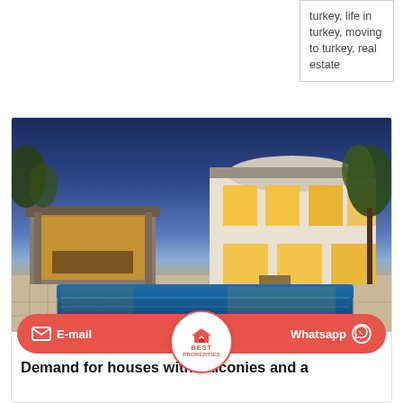turkey, life in turkey, moving to turkey, real estate
[Figure (photo): Luxury house exterior at dusk with illuminated windows, covered patio area, and a large swimming pool in the foreground with concrete surround.]
E-mail
[Figure (logo): Best Properties circular logo with house icon, red border on white circle]
Whatsapp
Demand for houses with balconies and a